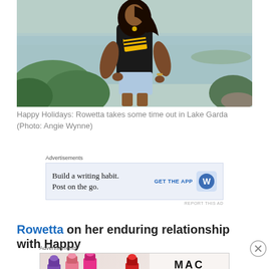[Figure (photo): Woman wearing a black t-shirt with yellow graphic standing outdoors near a lake (Lake Garda) with green bushes and water in background]
Happy Holidays: Rowetta takes some time out in Lake Garda (Photo: Angie Wynne)
[Figure (other): Advertisement: Build a writing habit. Post on the go. GET THE APP [WordPress logo]]
Rowetta on her enduring relationship with Happy Mondays (excerpt title)
[Figure (other): Advertisement: MAC cosmetics with lipstick products. SHOP NOW]